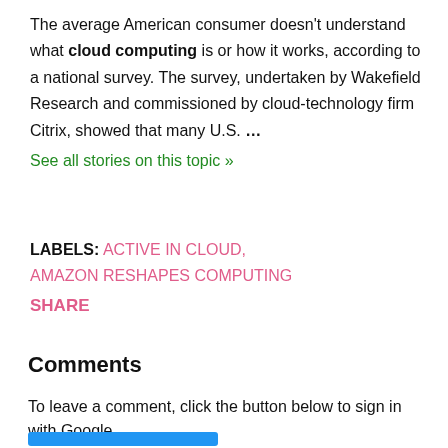The average American consumer doesn't understand what cloud computing is or how it works, according to a national survey. The survey, undertaken by Wakefield Research and commissioned by cloud-technology firm Citrix, showed that many U.S. …
See all stories on this topic »
LABELS: ACTIVE IN CLOUD, AMAZON RESHAPES COMPUTING SHARE
Comments
To leave a comment, click the button below to sign in with Google.